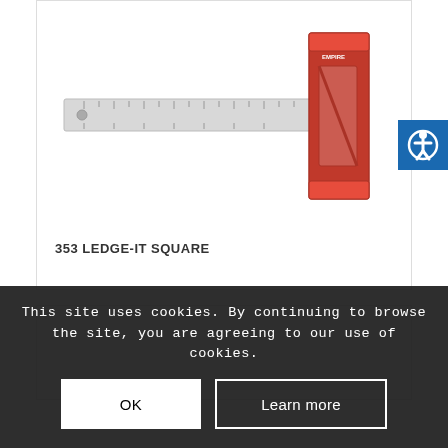[Figure (photo): A metallic try square / speed square measuring tool with a silver/chrome blade and red anodized aluminum handle, photographed on white background.]
353 LEDGE-IT SQUARE
This site uses cookies. By continuing to browse the site, you are agreeing to our use of cookies.